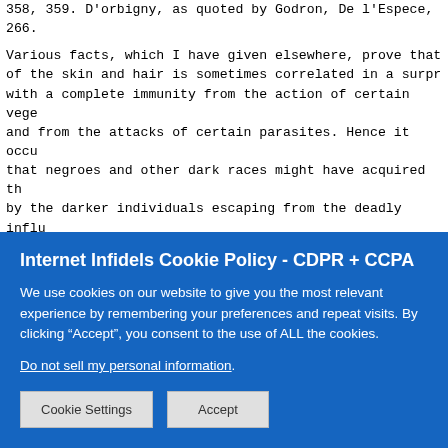358, 359. D'orbigny, as quoted by Godron, De l'Espece, 266.

Various facts, which I have given elsewhere, prove that of the skin and hair is sometimes correlated in a surprising manner with a complete immunity from the action of certain vegetable poisons and from the attacks of certain parasites. Hence it occurred to me that negroes and other dark races might have acquired their dark tints by the darker individuals escaping from the deadly influence of the miasma of their native countries, during a long series of generations. I afterwards found that this same idea had long ago occurred to Dr. Wells.* It has long been known that negroes, and even mulattoes, are almost completely exempt from the yellow fever, so destructive in tropical America.*(2) They likewise escape to a large extent the fatal intermittent fevers, that prevail along at least 2600 miles of the shores of Africa, and which annually cause one-fifth of the white settlers to die, and another fifth to return home
Internet Infidels Cookie Policy - CDPR + CCPA
We use cookies on our website to give you the most relevant experience by remembering your preferences and repeat visits. By clicking “Accept”, you consent to the use of ALL the cookies.
Do not sell my personal information.
Cookie Settings    Accept